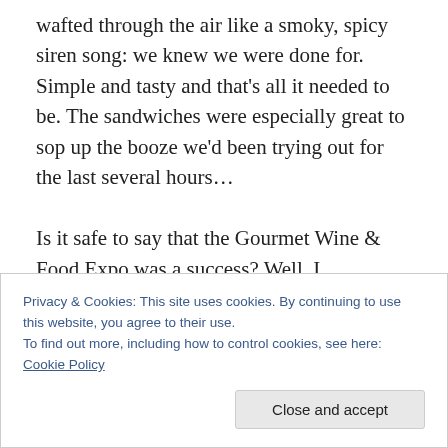wafted through the air like a smoky, spicy siren song: we knew we were done for. Simple and tasty and that's all it needed to be. The sandwiches were especially great to sop up the booze we'd been trying out for the last several hours…

Is it safe to say that the Gourmet Wine & Food Expo was a success? Well, I understand that they'll be moving the larger hall next year so…yes. I have to admit that I enjoyed the Delicious Food Show a little more, but my expectations may have been unfairly high. Certainly not a
Privacy & Cookies: This site uses cookies. By continuing to use this website, you agree to their use.
To find out more, including how to control cookies, see here: Cookie Policy